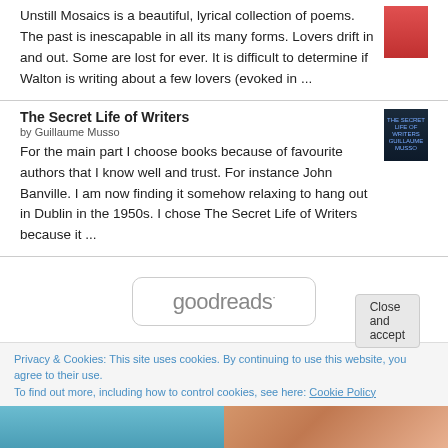Unstill Mosaics is a beautiful, lyrical collection of poems. The past is inescapable in all its many forms. Lovers drift in and out. Some are lost for ever. It is difficult to determine if Walton is writing about a few lovers (evoked in ...
The Secret Life of Writers
by Guillaume Musso
For the main part I choose books because of favourite authors that I know well and trust. For instance John Banville. I am now finding it somehow relaxing to hang out in Dublin in the 1950s. I chose The Secret Life of Writers because it ...
[Figure (logo): goodreads logo in rounded rectangle box]
Privacy & Cookies: This site uses cookies. By continuing to use this website, you agree to their use. To find out more, including how to control cookies, see here: Cookie Policy
[Figure (photo): Two footer images: left shows a blue landscape/water scene, right shows a person's face]